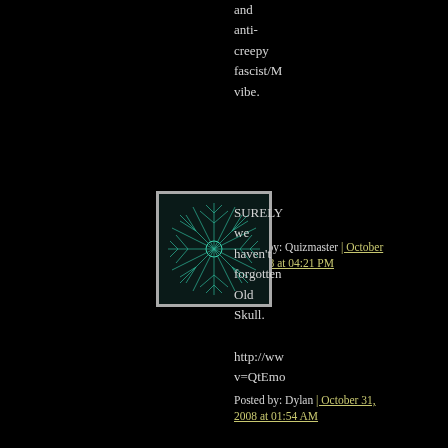and anti-creepy fascist/M vibe.
Posted by: Quizmaster | October 30, 2008 at 04:21 PM
[Figure (illustration): Square avatar image with teal/green fractal leaf/snowflake pattern on dark background, with white border]
SURELY we haven't forgotten Old Skull.
http://ww v=QtEmo
Posted by: Dylan | October 31, 2008 at 01:54 AM